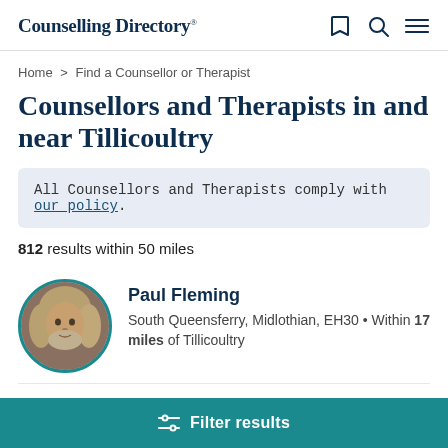Counselling Directory
Home > Find a Counsellor or Therapist
Counsellors and Therapists in and near Tillicoultry
All Counsellors and Therapists comply with our policy.
812 results within 50 miles
[Figure (photo): Circular profile photo of Paul Fleming, a man with long grey-blond hair and a beard]
Paul Fleming
South Queensferry, Midlothian, EH30 • Within 17 miles of Tillicoultry
Filter results